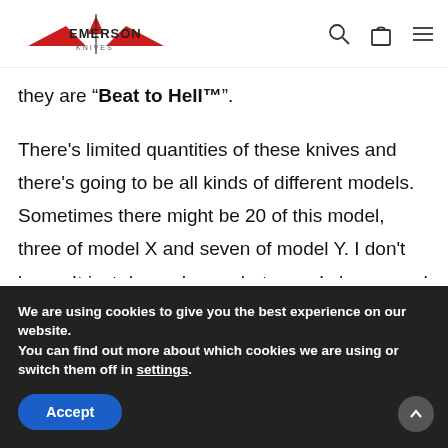[Figure (logo): Emerson Knives logo with red wing graphic and text]
they are “Beat to Hell™”.
There’s limited quantities of these knives and there’s going to be all kinds of different models. Sometimes there might be 20 of this model, three of model X and seven of model Y. I don’t know. It just depends on what ones I choose and how many I make. If a knife sells
We are using cookies to give you the best experience on our website.
You can find out more about which cookies we are using or switch them off in settings.
Accept